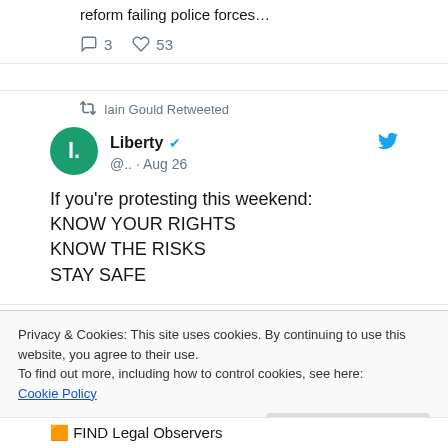reform failing police forces…
3 comments, 53 likes
Iain Gould Retweeted
Liberty @.. · Aug 26
If you're protesting this weekend:
KNOW YOUR RIGHTS
KNOW THE RISKS
STAY SAFE
Privacy & Cookies: This site uses cookies. By continuing to use this website, you agree to their use.
To find out more, including how to control cookies, see here: Cookie Policy
Close and accept
🟧 FIND Legal Observers